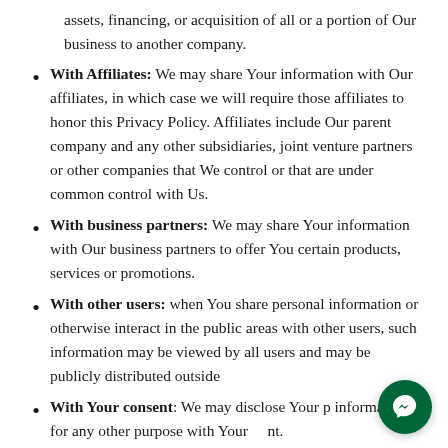assets, financing, or acquisition of all or a portion of Our business to another company.
With Affiliates: We may share Your information with Our affiliates, in which case we will require those affiliates to honor this Privacy Policy. Affiliates include Our parent company and any other subsidiaries, joint venture partners or other companies that We control or that are under common control with Us.
With business partners: We may share Your information with Our business partners to offer You certain products, services or promotions.
With other users: when You share personal information or otherwise interact in the public areas with other users, such information may be viewed by all users and may be publicly distributed outside
With Your consent: We may disclose Your personal information for any other purpose with Your consent.